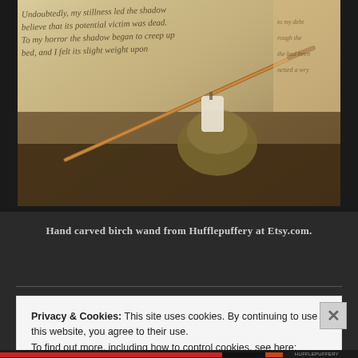[Figure (photo): Photo of a hand carved birch wand lying diagonally across handwritten parchment pages, next to a brass candlestick holder with a white candle stub. The wand has a darker tip and lighter wooden body.]
Hand carved birch wand from Hufflepuffery at Etsy.com.
Privacy & Cookies: This site uses cookies. By continuing to use this website, you agree to their use.
To find out more, including how to control cookies, see here: Cookie Policy